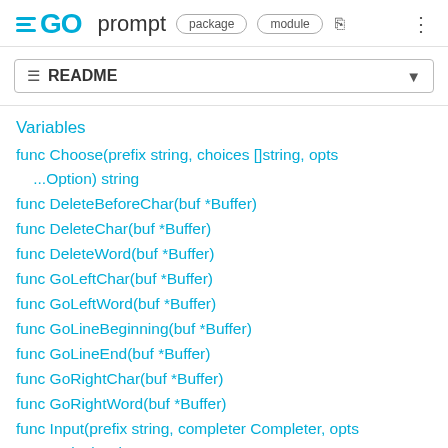GO prompt package module
≡ README
Variables
func Choose(prefix string, choices []string, opts ...Option) string
func DeleteBeforeChar(buf *Buffer)
func DeleteChar(buf *Buffer)
func DeleteWord(buf *Buffer)
func GoLeftChar(buf *Buffer)
func GoLeftWord(buf *Buffer)
func GoLineBeginning(buf *Buffer)
func GoLineEnd(buf *Buffer)
func GoRightChar(buf *Buffer)
func GoRightWord(buf *Buffer)
func Input(prefix string, completer Completer, opts ...Option) string